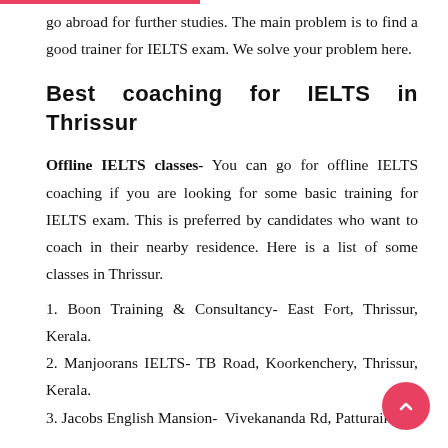go abroad for further studies. The main problem is to find a good trainer for IELTS exam. We solve your problem here.
Best coaching for IELTS in Thrissur
Offline IELTS classes- You can go for offline IELTS coaching if you are looking for some basic training for IELTS exam. This is preferred by candidates who want to coach in their nearby residence. Here is a list of some classes in Thrissur.
1. Boon Training & Consultancy- East Fort, Thrissur, Kerala.
2. Manjoorans IELTS- TB Road, Koorkenchery, Thrissur, Kerala.
3. Jacobs English Mansion- Vivekananda Rd, Patturaikkal,